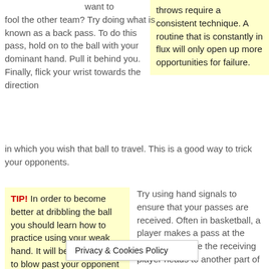want to fool the other team? Try doing what is known as a back pass. To do this pass, hold on to the ball with your dominant hand. Pull it behind you. Finally, flick your wrist towards the direction in which you wish that ball to travel. This is a good way to trick your opponents.
throws require a consistent technique. A routine that is constantly in flux will only open up more opportunities for failure.
TIP! In order to become better at dribbling the ball you should learn how to practice using your weak hand. It will be much easier to blow past your opponent you can dribble with
Try using hand signals to ensure that your passes are received. Often in basketball, a player makes a pass at the exact same time the receiving player heads to another part of the court. Hand signals help ready
Privacy & Cookies Policy